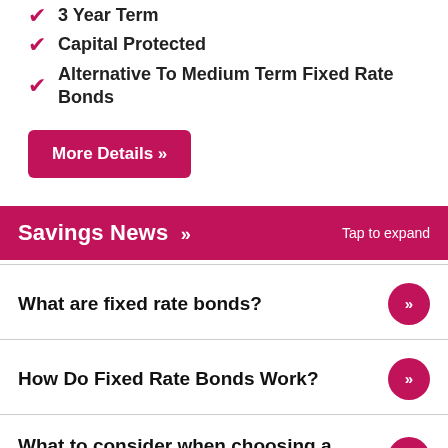3 Year Term
Capital Protected
Alternative To Medium Term Fixed Rate Bonds
More Details »
Savings News »   Tap to expand
What are fixed rate bonds?
How Do Fixed Rate Bonds Work?
What to consider when choosing a fixed rate bond